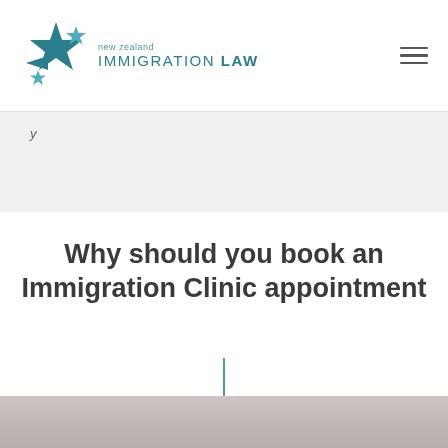new zealand IMMIGRATION LAW
y
Why should you book an Immigration Clinic appointment
[Figure (photo): Photo strip at bottom of page showing partial image of people or office setting]